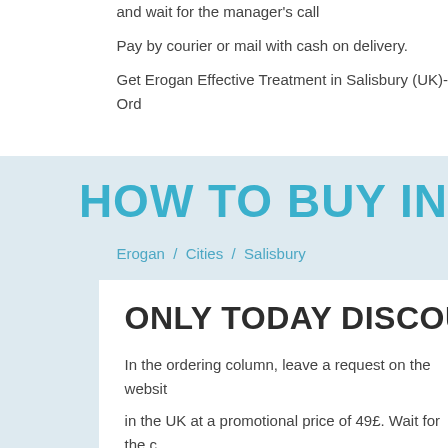and wait for the manager's call
Pay by courier or mail with cash on delivery.
Get Erogan Effective Treatment in Salisbury (UK)-Ord...
HOW TO BUY IN...
Erogan / Cities / Salisbury
ONLY TODAY DISCOUNT -50%...
In the ordering column, leave a request on the websit...
in the UK at a promotional price of 49£. Wait for the c...